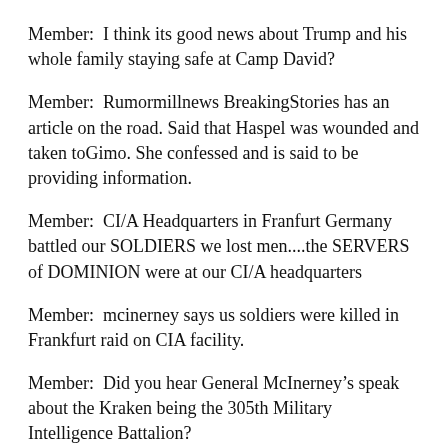Member:  I think its good news about Trump and his whole family staying safe at Camp David?
Member:  Rumormillnews BreakingStories has an article on the road. Said that Haspel was wounded and taken toGimo. She confessed and is said to be providing information.
Member:  CI/A Headquarters in Franfurt Germany battled our SOLDIERS we lost men....the SERVERS of DOMINION were at our CI/A headquarters
Member:  mcinerney says us soldiers were killed in Frankfurt raid on CIA facility.
Member:  Did you hear General McInerney’s speak about the Kraken being the 305th Military Intelligence Battalion?